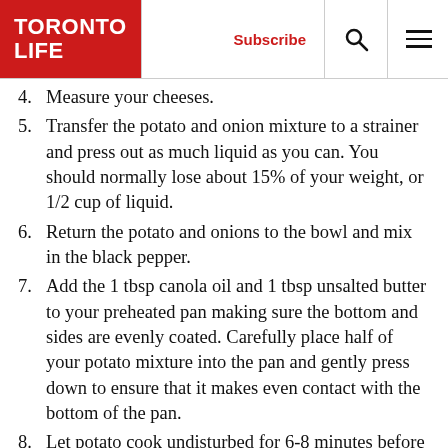TORONTO LIFE | Subscribe
4. Measure your cheeses.
5. Transfer the potato and onion mixture to a strainer and press out as much liquid as you can. You should normally lose about 15% of your weight, or 1/2 cup of liquid.
6. Return the potato and onions to the bowl and mix in the black pepper.
7. Add the 1 tbsp canola oil and 1 tbsp unsalted butter to your preheated pan making sure the bottom and sides are evenly coated. Carefully place half of your potato mixture into the pan and gently press down to ensure that it makes even contact with the bottom of the pan.
8. Let potato cook undisturbed for 6-8 minutes before checking. When the potato crust is cohesive